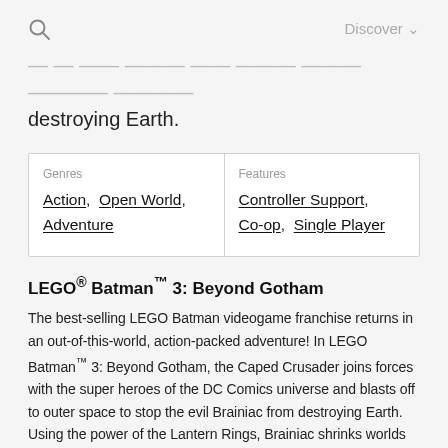🔍  Discover ∨
...to outer space to stop the evil Brainiac from destroying Earth.
| Genres | Features |
| --- | --- |
| Action,  Open World,  Adventure | Controller Support,  Co-op,  Single Player |
LEGO® Batman™ 3: Beyond Gotham
The best-selling LEGO Batman videogame franchise returns in an out-of-this-world, action-packed adventure! In LEGO Batman™ 3: Beyond Gotham, the Caped Crusader joins forces with the super heroes of the DC Comics universe and blasts off to outer space to stop the evil Brainiac from destroying Earth. Using the power of the Lantern Rings, Brainiac shrinks worlds to add to his twisted collection of miniature cities from across the universe. Now the greatest super heroes and the